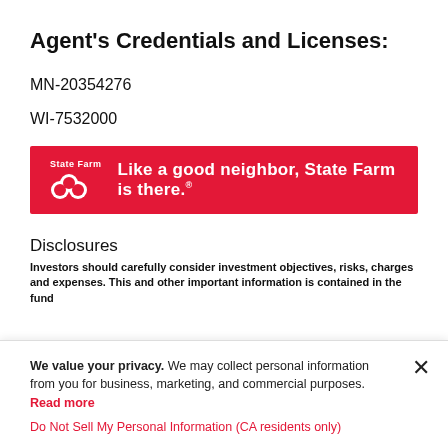Agent's Credentials and Licenses:
MN-20354276
WI-7532000
[Figure (logo): State Farm red banner with logo and tagline: 'Like a good neighbor, State Farm is there.']
Disclosures
Investors should carefully consider investment objectives, risks, charges and expenses. This and other important information is contained in the fund
We value your privacy. We may collect personal information from you for business, marketing, and commercial purposes. Read more

Do Not Sell My Personal Information (CA residents only)